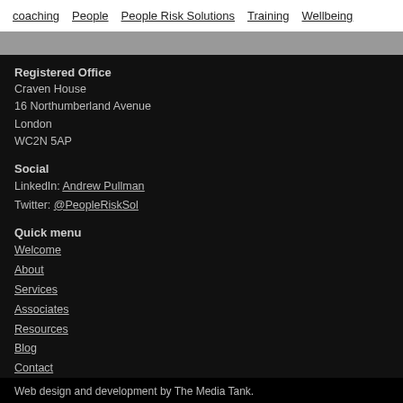coaching  People  People Risk Solutions  Training  Wellbeing
Registered Office
Craven House
16 Northumberland Avenue
London
WC2N 5AP
Social
LinkedIn: Andrew Pullman
Twitter: @PeopleRiskSol
Quick menu
Welcome
About
Services
Associates
Resources
Blog
Contact
Web design and development by The Media Tank.